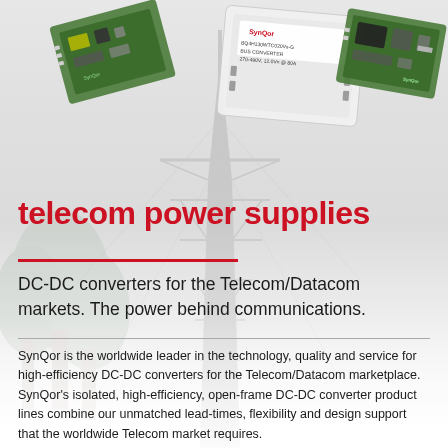[Figure (photo): Background photo collage showing electronic circuit boards and DC-DC converter modules (SynQor branded) at the top, and a telecommunications tower/antenna mast in the background, with trees visible. The image fades into a white/light grey background in the lower portion of the page.]
telecom power supplies
DC-DC converters for the Telecom/Datacom markets. The power behind communications.
SynQor is the worldwide leader in the technology, quality and service for high-efficiency DC-DC converters for the Telecom/Datacom marketplace. SynQor's isolated, high-efficiency, open-frame DC-DC converter product lines combine our unmatched lead-times, flexibility and design support that the worldwide Telecom market requires.